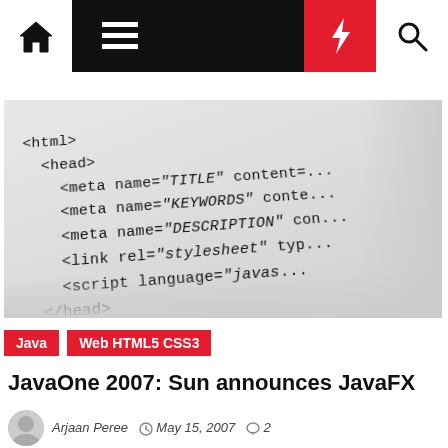Navigation bar with home, menu, lightning, and search icons
[Figure (photo): Close-up photograph of HTML code printed on paper, showing tags like <html>, <head>, <meta name='TITLE'>, <meta name='KEYWORDS'>, <meta name='DESCRIPTION'>, <link rel='stylesheet'>, <script language='javas'>, </head>, bgcolor='#ffff']
Java  Web HTML5 CSS3
JavaOne 2007: Sun announces JavaFX
Arjaan Peree  May 15, 2007  2